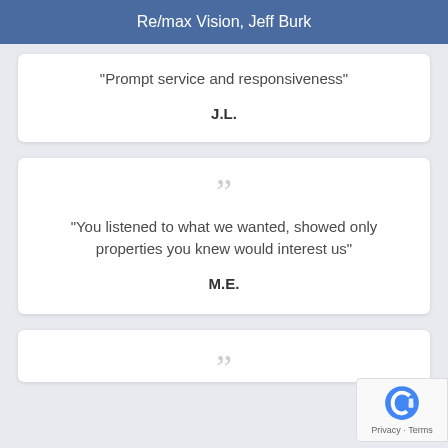Re/max Vision, Jeff Burk
"Prompt service and responsiveness"
J.L.
"You listened to what we wanted, showed only properties you knew would interest us"
M.E.